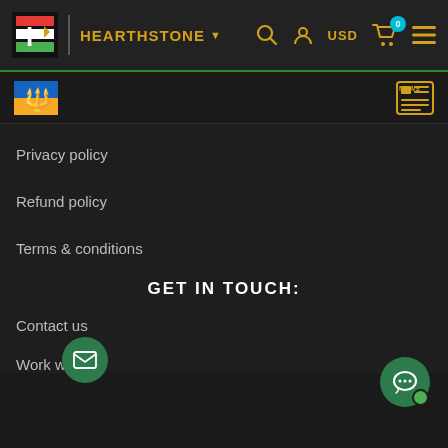HEARTHSTONE - store header with logo, search, user, USD, cart, menu icons
[Figure (logo): IC store logo with red and green stylized letters, Ukraine flag emoji icon, and news icon in subheader]
Privacy policy
Refund policy
Terms & conditions
GET IN TOUCH:
Contact us
Work with us